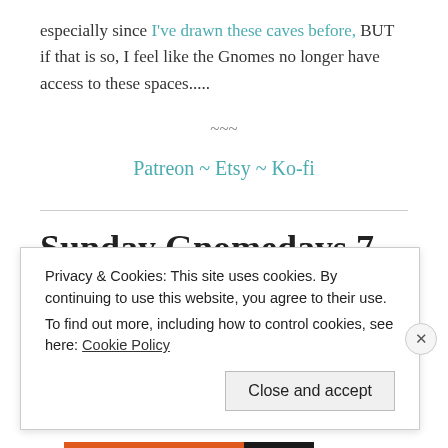especially since I've drawn these caves before, BUT if that is so, I feel like the Gnomes no longer have access to these spaces.....
~~~
Patreon ~ Etsy ~ Ko-fi
Sunday Gnomedays 7-24-22
Privacy & Cookies: This site uses cookies. By continuing to use this website, you agree to their use. To find out more, including how to control cookies, see here: Cookie Policy
Close and accept